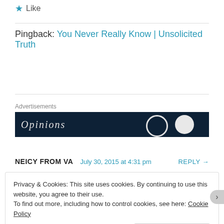★ Like
Pingback: You Never Really Know | Unsolicited Truth
[Figure (screenshot): Advertisement banner with dark navy background showing the text 'Opinions' in italic serif font, a circle outline, and a filled circle on the right side.]
NEICY FROM VA   July 30, 2015 at 4:31 pm   REPLY →
Privacy & Cookies: This site uses cookies. By continuing to use this website, you agree to their use.
To find out more, including how to control cookies, see here: Cookie Policy
Close and accept